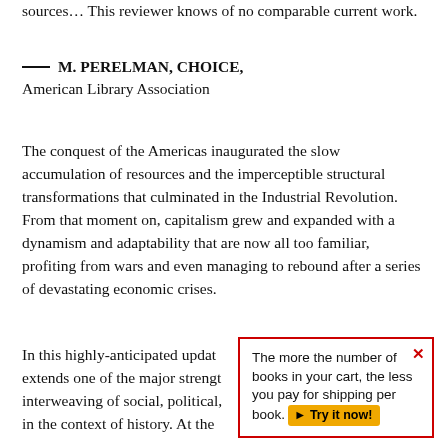sources... This reviewer knows of no comparable current work.
—— M. PERELMAN, CHOICE, American Library Association
The conquest of the Americas inaugurated the slow accumulation of resources and the imperceptible structural transformations that culminated in the Industrial Revolution. From that moment on, capitalism grew and expanded with a dynamism and adaptability that are now all too familiar, profiting from wars and even managing to rebound after a series of devastating economic crises.
In this highly-anticipated updat extends one of the major strengt interweaving of social, political, in the context of history. At the
The more the number of books in your cart, the less you pay for shipping per book. Try it now!